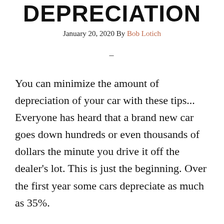DEPRECIATION
January 20, 2020 By Bob Lotich
–
You can minimize the amount of depreciation of your car with these tips... Everyone has heard that a brand new car goes down hundreds or even thousands of dollars the minute you drive it off the dealer's lot. This is just the beginning. Over the first year some cars depreciate as much as 35%.